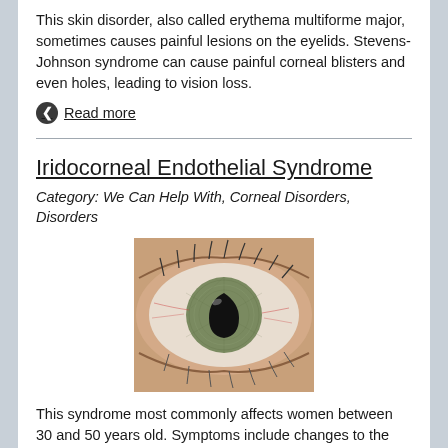This skin disorder, also called erythema multiforme major, sometimes causes painful lesions on the eyelids. Stevens-Johnson syndrome can cause painful corneal blisters and even holes, leading to vision loss.
Read more
Iridocorneal Endothelial Syndrome
Category: We Can Help With, Corneal Disorders, Disorders
[Figure (photo): Close-up photo of a human eye showing a distorted, teardrop-shaped pupil, characteristic of Iridocorneal Endothelial Syndrome]
This syndrome most commonly affects women between 30 and 50 years old. Symptoms include changes to the iris, corneal swelling and the onset of glaucoma.